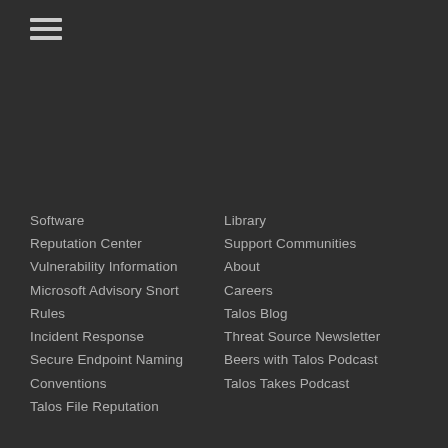[Figure (other): Hamburger menu icon (three horizontal lines) in top left corner]
Software
Reputation Center
Vulnerability Information
Microsoft Advisory Snort Rules
Incident Response
Secure Endpoint Naming Conventions
Talos File Reputation
Library
Support Communities
About
Careers
Talos Blog
Threat Source Newsletter
Beers with Talos Podcast
Talos Takes Podcast